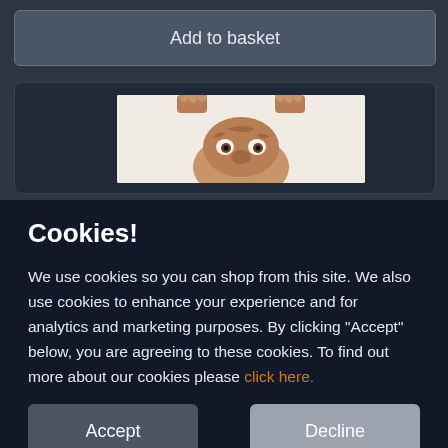[Figure (screenshot): Website background showing 'Add to basket' button and a product card with a character/puppet image, partially visible behind a cookie consent overlay.]
Cookies!
We use cookies so you can shop from this site. We also use cookies to enhance your experience and for analytics and marketing purposes. By clicking "Accept" below, you are agreeing to these cookies. To find out more about our cookies please click here.
Accept
Decline